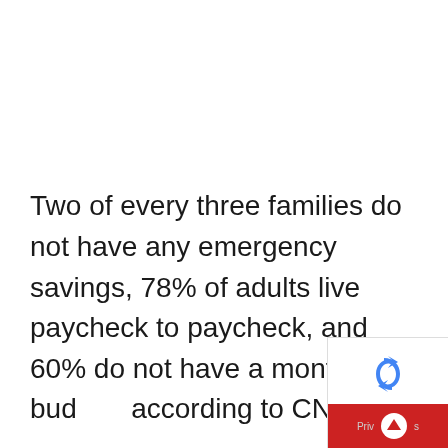Two of every three families do not have any emergency savings, 78% of adults live paycheck to paycheck, and 60% do not have a monthly budget, according to CNBC.